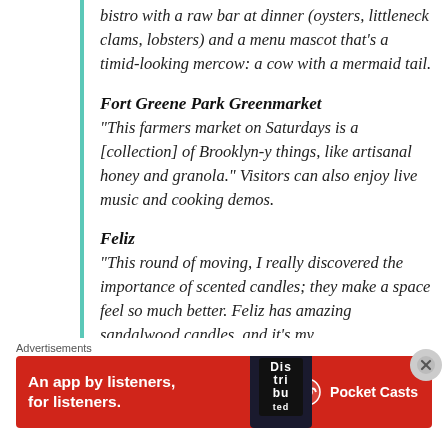bistro with a raw bar at dinner (oysters, littleneck clams, lobsters) and a menu mascot that's a timid-looking mercow: a cow with a mermaid tail.
Fort Greene Park Greenmarket
"This farmers market on Saturdays is a [collection] of Brooklyn-y things, like artisanal honey and granola." Visitors can also enjoy live music and cooking demos.
Feliz
"This round of moving, I really discovered the importance of scented candles; they make a space feel so much better. Feliz has amazing sandalwood candles, and it's my
Advertisements
[Figure (infographic): Red Pocket Casts advertisement banner: 'An app by listeners, for listeners.' with phone image and Pocket Casts logo]